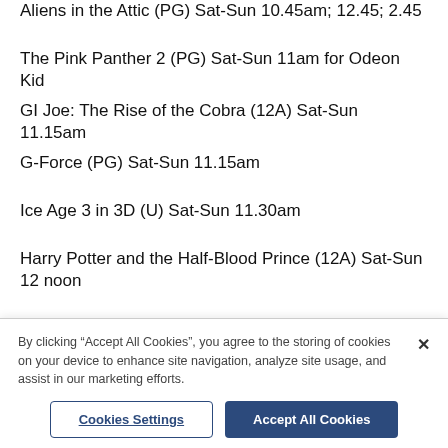Aliens in the Attic (PG) Sat-Sun 10.45am; 12.45; 2.45
The Pink Panther 2 (PG) Sat-Sun 11am for Odeon Kid
GI Joe: The Rise of the Cobra (12A) Sat-Sun 11.15am
G-Force (PG) Sat-Sun 11.15am
Ice Age 3 in 3D (U) Sat-Sun 11.30am
Harry Potter and the Half-Blood Prince (12A) Sat-Sun 12 noon
In the Loop (15) Tues 9
Marley and Me (PG) Wed 11.30am for senior screen
By clicking “Accept All Cookies”, you agree to the storing of cookies on your device to enhance site navigation, analyze site usage, and assist in our marketing efforts.